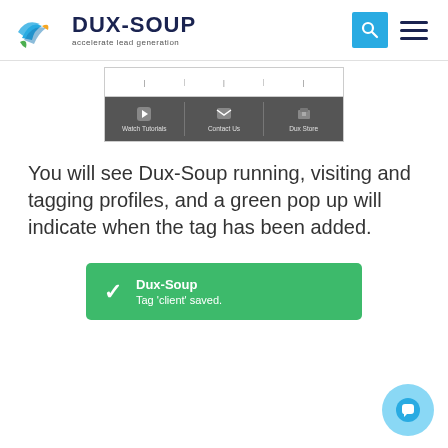[Figure (logo): Dux-Soup logo with bird icon and tagline 'accelerate lead generation']
[Figure (screenshot): Screenshot of Dux-Soup browser extension panel showing Watch Tutorials, Contact Us, and Dux Store buttons on a dark background]
You will see Dux-Soup running, visiting and tagging profiles, and a green pop up will indicate when the tag has been added.
[Figure (screenshot): Green notification popup showing 'Dux-Soup' title and message 'Tag ‘client’ saved.']